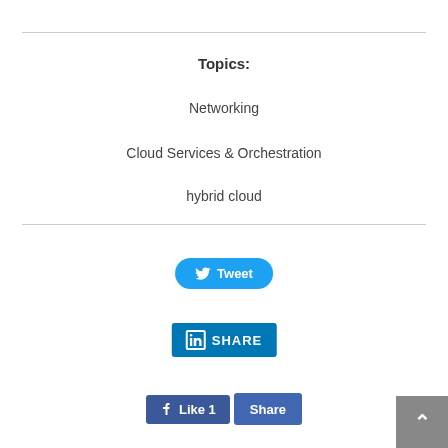Topics:
Networking
Cloud Services & Orchestration
hybrid cloud
[Figure (other): Tweet button (Twitter social share button, blue rounded rectangle with bird icon and 'Tweet' text)]
[Figure (other): LinkedIn Share button (blue rectangle with LinkedIn logo icon and 'SHARE' text)]
[Figure (other): Facebook Like and Share buttons (blue buttons showing thumbs up icon, 'Like 1', and 'Share')]